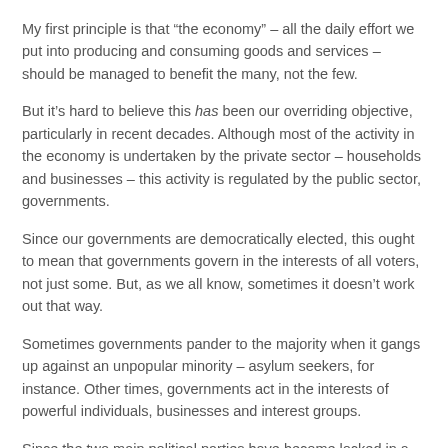My first principle is that “the economy” – all the daily effort we put into producing and consuming goods and services – should be managed to benefit the many, not the few.
But it’s hard to believe this has been our overriding objective, particularly in recent decades. Although most of the activity in the economy is undertaken by the private sector – households and businesses – this activity is regulated by the public sector, governments.
Since our governments are democratically elected, this ought to mean that governments govern in the interests of all voters, not just some. But, as we all know, sometimes it doesn’t work out that way.
Sometimes governments pander to the majority when it gangs up against an unpopular minority – asylum seekers, for instance. Other times, governments act in the interests of powerful individuals, businesses and interest groups.
Since the two main political parties have become locked in a hugely expensive contest to influence voters at election time, they are not always as responsive to the interests of...